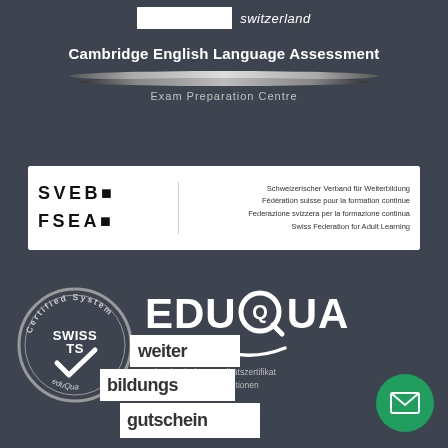[Figure (logo): White rectangle with 'switzerland' italic text in white on dark background — top header logo area]
[Figure (logo): Cambridge English Language Assessment logo with silver ribbon graphic and 'Exam Preparation Centre' text on dark background]
[Figure (logo): SVEB/FSEA white box logo with text in four languages: Schweizerischer Verband für Weiterbildung, Fédération suisse pour la formation continue, Federazione svizzera per la formazione continua, Swiss Federation for Adult Learning]
[Figure (logo): Swiss TS Certified System eduQua circular badge on dark background]
[Figure (logo): EduQua logo with stylized Q and swirl and text 'Schweizerisches Qualitätszertifikat für Weiterbildungsinstitutionen']
[Figure (logo): Weiterbildungsgutschein logo in white on dark background with stacked text layout]
[Figure (illustration): Green circle button with white envelope/email icon]